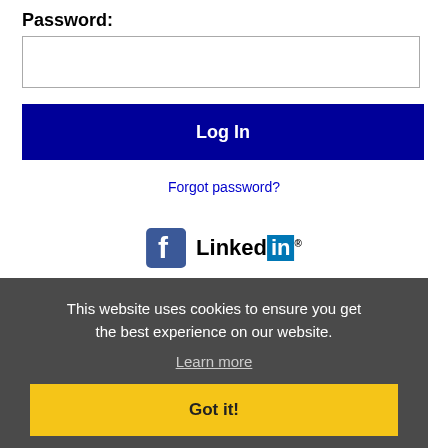Password:
[Figure (screenshot): Password input field (empty text box)]
Log In
Forgot password?
[Figure (logo): Facebook logo icon and LinkedIn logo side by side]
This website uses cookies to ensure you get the best experience on our website.
Learn more
Got it!